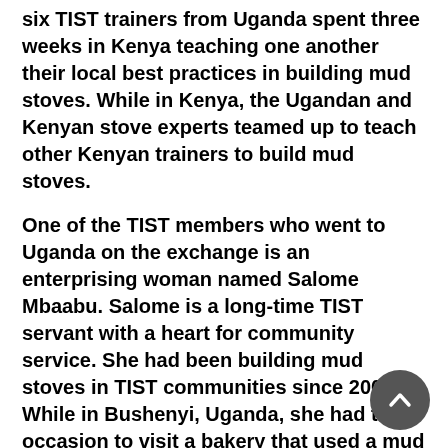six TIST trainers from Uganda spent three weeks in Kenya teaching one another their local best practices in building mud stoves. While in Kenya, the Ugandan and Kenyan stove experts teamed up to teach other Kenyan trainers to build mud stoves.
One of the TIST members who went to Uganda on the exchange is an enterprising woman named Salome Mbaabu. Salome is a long-time TIST servant with a heart for community service. She had been building mud stoves in TIST communities since 2007. While in Bushenyi, Uganda, she had the occasion to visit a bakery that used a mud oven built using design principles similar to those of the mud stoves she had been building in kitchens in Meru, Kenya. Salome took careful note of the stove design, and after returning home, she and two of her sons undertook building their own bakery.
Traditional mud ovens in local bakeries often use so much wood fuel that it is difficult to break even. But with the improved design principles Salome learned